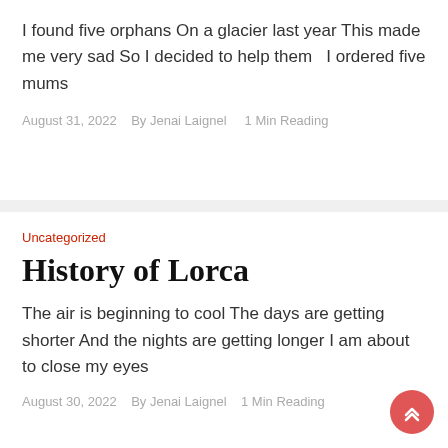I found five orphans On a glacier last year This made me very sad So I decided to help them   I ordered five mums
August 31, 2022   By Jenai Laignel    1 Min Reading
Uncategorized
History of Lorca
The air is beginning to cool The days are getting shorter And the nights are getting longer I am about to close my eyes
August 30, 2022   By Jenai Laignel    1 Min Reading